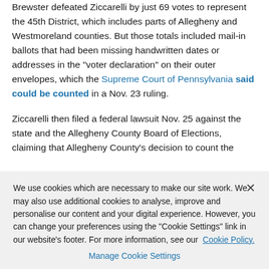According to the state's official, certified election results, Brewster defeated Ziccarelli by just 69 votes to represent the 45th District, which includes parts of Allegheny and Westmoreland counties. But those totals included mail-in ballots that had been missing handwritten dates or addresses in the "voter declaration" on their outer envelopes, which the Supreme Court of Pennsylvania said could be counted in a Nov. 23 ruling.
Ziccarelli then filed a federal lawsuit Nov. 25 against the state and the Allegheny County Board of Elections, claiming that Allegheny County's decision to count the
We use cookies which are necessary to make our site work. We may also use additional cookies to analyse, improve and personalise our content and your digital experience. However, you can change your preferences using the "Cookie Settings" link in our website's footer. For more information, see our Cookie Policy.
Manage Cookie Settings